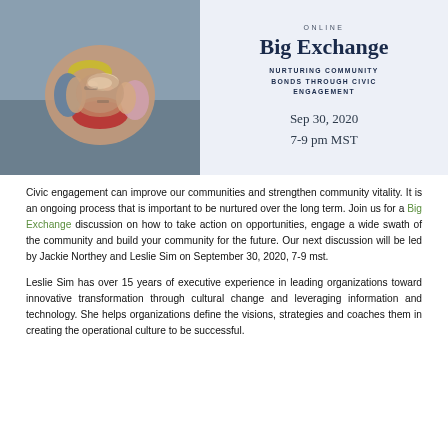[Figure (photo): Photo of diverse group of people stacking hands together in a circle, viewed from above, showing community teamwork.]
ONLINE
Big Exchange
NURTURING COMMUNITY BONDS THROUGH CIVIC ENGAGEMENT
Sep 30, 2020
7-9 pm MST
Civic engagement can improve our communities and strengthen community vitality.  It is an ongoing process that is important to be nurtured over the long term.   Join us for a Big Exchange discussion on how to take action on opportunities, engage a wide swath of the community and build your community for the future.  Our next discussion will be led by Jackie Northey and Leslie Sim on September 30, 2020, 7-9 mst.
Leslie Sim has over 15 years of executive experience in leading organizations toward innovative transformation through cultural change and leveraging information and technology.  She helps organizations define the visions, strategies and coaches them in creating the operational culture to be successful.